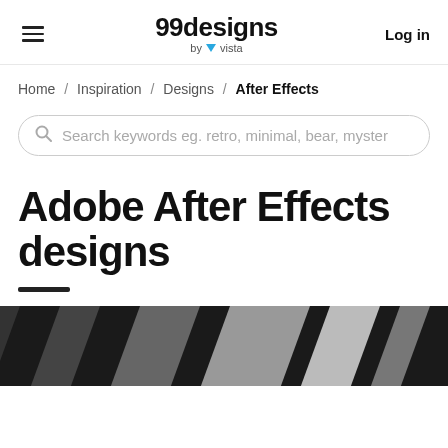99designs by vista — Log in
Home / Inspiration / Designs / After Effects
Search keywords eg. retro, minimal, bear, myster
Adobe After Effects designs
[Figure (photo): Dark diagonal striped abstract background image in grayscale]